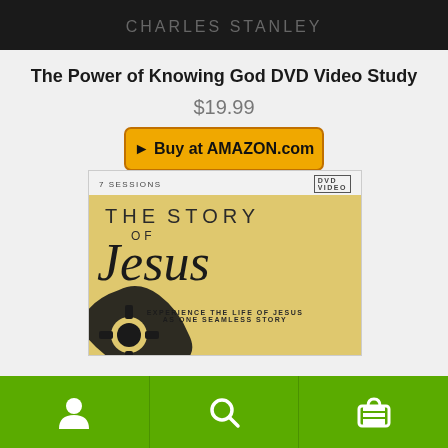[Figure (photo): Dark background product image top crop]
The Power of Knowing God DVD Video Study
$19.99
[Figure (screenshot): Buy at AMAZON.com button - orange/yellow button with arrow]
[Figure (photo): DVD cover for The Story of Jesus - 7 Sessions, yellow background with gear motif, text: EXPERIENCE THE LIFE OF JESUS AS ONE SEAMLESS STORY]
[Figure (infographic): Green bottom navigation bar with person icon, search icon, and shopping basket icon]